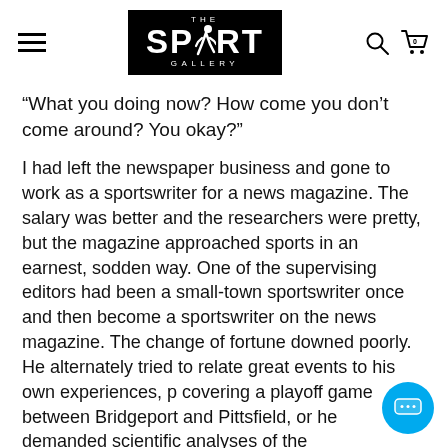THE SPORT GALLERY
“What you doing now? How come you don’t come around? You okay?”
I had left the newspaper business and gone to work as a sportswriter for a news magazine. The salary was better and the researchers were pretty, but the magazine approached sports in an earnest, sodden way. One of the supervising editors had been a small-town sportswriter once and then become a sportswriter on the news magazine. The change of fortune downed poorly. He alternately tried to relate great events to his own experiences, p covering a playoff game between Bridgeport and Pittsfield, or he demanded scientific analyses of the